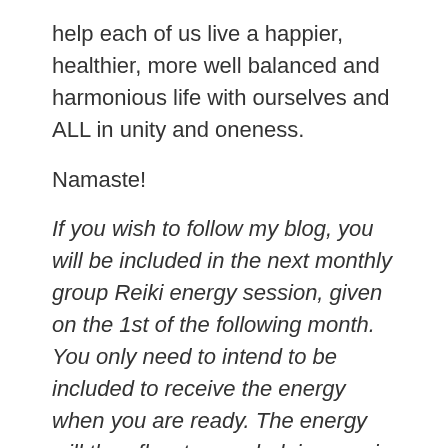help each of us live a happier, healthier, more well balanced and harmonious life with ourselves and ALL in unity and oneness.
Namaste!
If you wish to follow my blog, you will be included in the next monthly group Reiki energy session, given on the 1st of the following month. You only need to intend to be included to receive the energy when you are ready. The energy will then flow to you, helping you in any way you